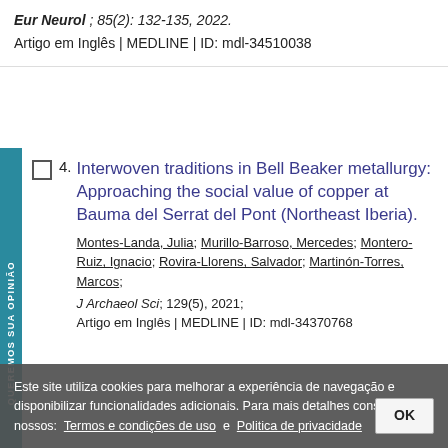Eur Neurol; 85(2): 132-135, 2022. Artigo em Inglês | MEDLINE | ID: mdl-34510038
4. Interwoven traditions in Bell Beaker metallurgy: Approaching the social value of copper at Bauma del Serrat del Pont (Northeast Iberia). Montes-Landa, Julia; Murillo-Barroso, Mercedes; Montero-Ruiz, Ignacio; Rovira-Llorens, Salvador; Martinón-Torres, Marcos; J Archaeol Sci; 129(5), 2021; Artigo em Inglês | MEDLINE | ID: mdl-34370768
Este site utiliza cookies para melhorar a experiência de navegação e disponibilizar funcionalidades adicionais. Para mais detalhes consulte nossos: Termos e condições de uso e Politica de privacidade